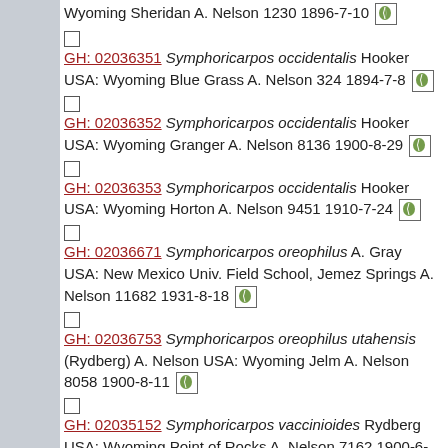GH: 02036351 Symphoricarpos occidentalis Hooker USA: Wyoming Blue Grass A. Nelson 324 1894-7-8
GH: 02036352 Symphoricarpos occidentalis Hooker USA: Wyoming Granger A. Nelson 8136 1900-8-29
GH: 02036353 Symphoricarpos occidentalis Hooker USA: Wyoming Horton A. Nelson 9451 1910-7-24
GH: 02036671 Symphoricarpos oreophilus A. Gray USA: New Mexico Univ. Field School, Jemez Springs A. Nelson 11682 1931-8-18
GH: 02036753 Symphoricarpos oreophilus utahensis (Rydberg) A. Nelson USA: Wyoming Jelm A. Nelson 8058 1900-8-11
GH: 02035152 Symphoricarpos vaccinioides Rydberg USA: Wyoming Point of Rocks A. Nelson 7162 1900-6-12
GH: 02035157 Symphoricarpos vaccinioides Rydberg USA: Wyoming Caspar Mts. A. Nelson 608 1894-7-26
GH: 02185943 Viburnum lentago Linnaeus USA: Wyoming Goose Creek A. Nelson 2254 1896-7-10